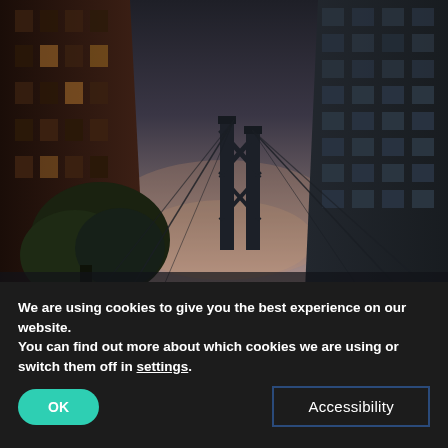[Figure (photo): Low-angle urban street photography showing buildings on left and right with a suspension bridge tower (Manhattan Bridge or similar) visible in the center background against a dusky sky. A tree is visible on the lower left.]
We are using cookies to give you the best experience on our website.
You can find out more about which cookies we are using or switch them off in settings.
OK
Accessibility